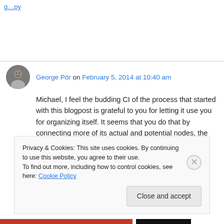g…py
George Pór on February 5, 2014 at 10:40 am
Michael, I feel the budding CI of the process that started with this blogpost is grateful to you for letting it use you for organizing itself. It seems that you do that by connecting more of its actual and potential nodes, the various pieces of insight
Privacy & Cookies: This site uses cookies. By continuing to use this website, you agree to their use.
To find out more, including how to control cookies, see here: Cookie Policy
Close and accept